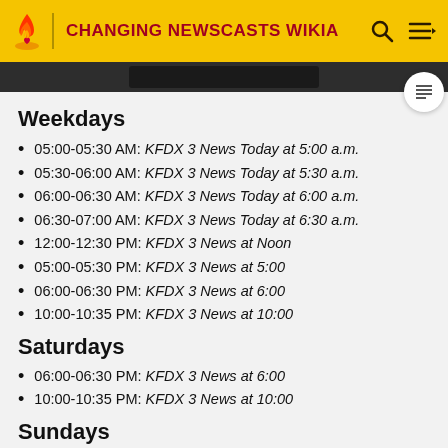CHANGING NEWSCASTS WIKIA
Weekdays
05:00-05:30 AM: KFDX 3 News Today at 5:00 a.m.
05:30-06:00 AM: KFDX 3 News Today at 5:30 a.m.
06:00-06:30 AM: KFDX 3 News Today at 6:00 a.m.
06:30-07:00 AM: KFDX 3 News Today at 6:30 a.m.
12:00-12:30 PM: KFDX 3 News at Noon
05:00-05:30 PM: KFDX 3 News at 5:00
06:00-06:30 PM: KFDX 3 News at 6:00
10:00-10:35 PM: KFDX 3 News at 10:00
Saturdays
06:00-06:30 PM: KFDX 3 News at 6:00
10:00-10:35 PM: KFDX 3 News at 10:00
Sundays